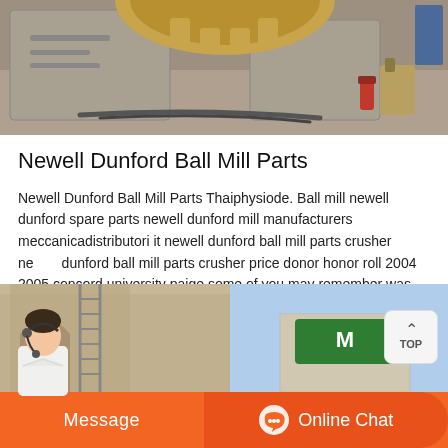[Figure (photo): Industrial photo showing large concrete blocks or mill foundations with heavy machinery/gears visible in the background, tools and hoses on the floor]
Newell Dunford Ball Mill Parts
Newell Dunford Ball Mill Parts Thaiphysiode. Ball mill newell dunford spare parts newell dunford mill manufacturers meccanicadistributori it newell dunford ball mill parts crusher newell dunford ball mill parts crusher price donor honor roll 2004 2005 concord university paige some of you may remember was the professional baseball home dfsfeed read more.
[Figure (photo): Industrial site / outdoor scene with buildings and green signage, partially visible at bottom of page]
Message
Online Chat